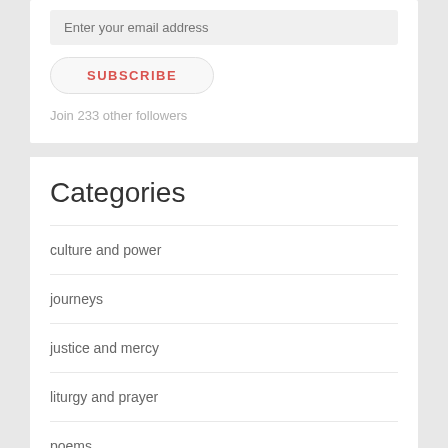Enter your email address
SUBSCRIBE
Join 233 other followers
Categories
culture and power
journeys
justice and mercy
liturgy and prayer
poems